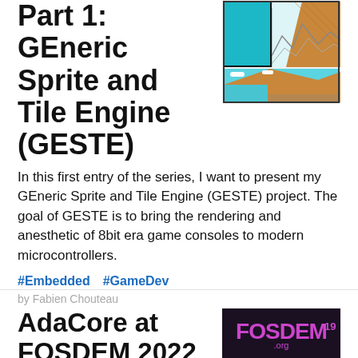Part 1: GEneric Sprite and Tile Engine (GESTE)
[Figure (illustration): 8-bit era game graphic showing landscape tiles with mountains, water and sky in retro pixel art style]
In this first entry of the series, I want to present my GEneric Sprite and Tile Engine (GESTE) project. The goal of GESTE is to bring the rendering and anesthetic of 8bit era game consoles to modern microcontrollers.
#Embedded   #GameDev
by Fabien Chouteau
AdaCore at FOSDEM 2022
[Figure (photo): FOSDEM 19.org event photo showing a person holding a white snowflake or asterisk-shaped badge against a dark background]
Like previous years, AdaCore will participate in FOSDEM.